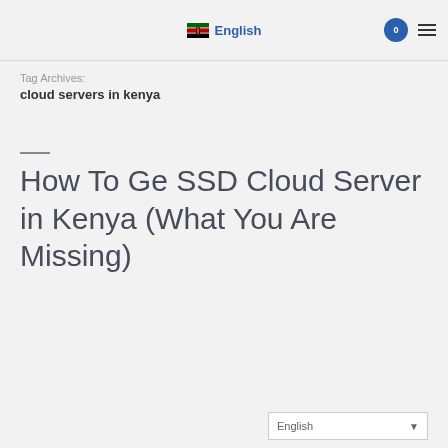🇰🇪 English
Tag Archives:
cloud servers in kenya
How To Ge SSD Cloud Server in Kenya (What You Are Missing)
English